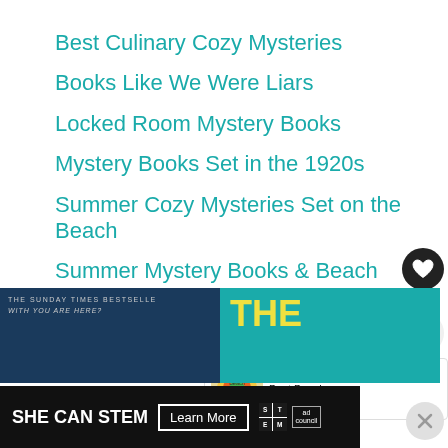Best Culinary Cozy Mysteries
Books Like We Were Liars
Locked Room Mystery Books
Mystery Books Set in the 1920s
Summer Cozy Mysteries Set on the Beach
Summer Mystery Books & Beach Thrillers for 2022
[Figure (screenshot): Screenshot of a webpage showing a list of mystery book recommendations with UI elements including a heart/like button showing 102, share button, What's Next panel for Best Beach Reads, book cover thumbnails, and an ad banner for SHE CAN STEM with Learn More button]
WHAT'S NEXT → Best Beach Reads - Best...
THE SUNDAY TIMES BESTSELLE
THE
SHE CAN STEM
Learn More
102